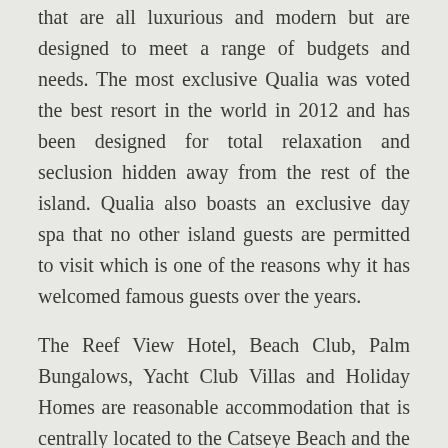that are all luxurious and modern but are designed to meet a range of budgets and needs. The most exclusive Qualia was voted the best resort in the world in 2012 and has been designed for total relaxation and seclusion hidden away from the rest of the island. Qualia also boasts an exclusive day spa that no other island guests are permitted to visit which is one of the reasons why it has welcomed famous guests over the years.
The Reef View Hotel, Beach Club, Palm Bungalows, Yacht Club Villas and Holiday Homes are reasonable accommodation that is centrally located to the Catseye Beach and the many restaurants and bars within the island.
Hamilton Island is a must visit whether you stay for the day or longer. It is easy to see why it has become well loved by many Australians who continue to visit